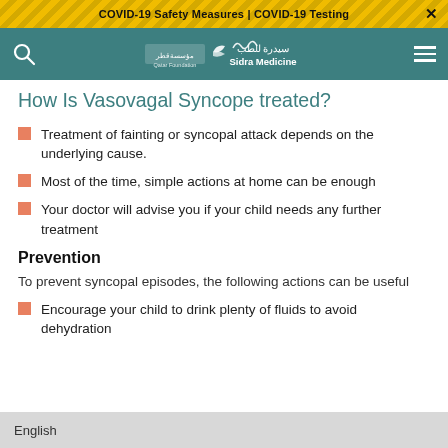COVID-19 Safety Measures | COVID-19 Testing
[Figure (logo): Sidra Medicine / Qatar Foundation logo on teal navigation bar]
How Is Vasovagal Syncope treated?
Treatment of fainting or syncopal attack depends on the underlying cause.
Most of the time, simple actions at home can be enough
Your doctor will advise you if your child needs any further treatment
Prevention
To prevent syncopal episodes, the following actions can be useful
Encourage your child to drink plenty of fluids to avoid dehydration
English